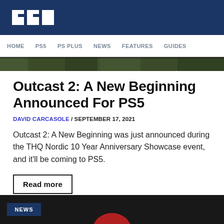PSU
HOME  PS5  PS PLUS  NEWS  FEATURES  GUIDES
[Figure (photo): Hero image strip showing outdoor greenery/landscape scene]
Outcast 2: A New Beginning Announced For PS5
DAVID CARCASOLE / SEPTEMBER 17, 2021
Outcast 2: A New Beginning was just announced during the THQ Nordic 10 Year Anniversary Showcase event, and it'll be coming to PS5.
Read more
[Figure (screenshot): NEWS badge overlay on dark background with partial image]